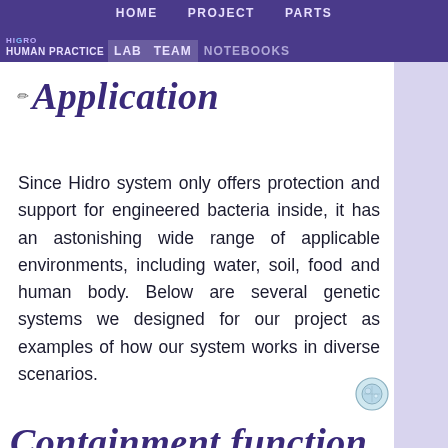HOME   PROJECT   PARTS   HUMAN PRACTICE   LAB   TEAM   NOTEBOOKS
Application
Since Hidro system only offers protection and support for engineered bacteria inside, it has an astonishing wide range of applicable environments, including water, soil, food and human body. Below are several genetic systems we designed for our project as examples of how our system works in diverse scenarios.